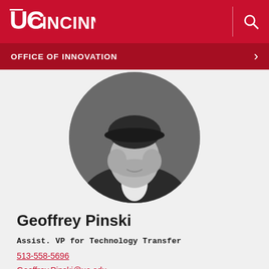UC Cincinnati — Office of Innovation
[Figure (photo): Black and white circular portrait photo of Geoffrey Pinski, showing his face/chin and bow tie, in formal attire]
Geoffrey Pinski
Assist. VP for Technology Transfer
513-558-5696
Geoffrey.Pinski@uc.edu